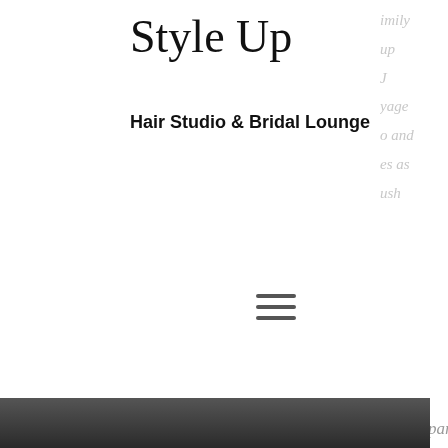Style Up
Hair Studio & Bridal Lounge
imily
up
J
yage
o and
es as
ush
[Figure (other): Hamburger menu icon (three horizontal lines)]
makeup. She travels on site for wedding parties and special events. Kyla's goal is for every client to leave her chair feeling better than when they sat down.
Visit https://www.vagaro.com/styleuphairstudio to schedule an appointment with kyla!
[Figure (other): Scroll-to-top button with upward-pointing chevron]
Contact Kyla directly @ kyla.gregory.cos@gmail.com
[Figure (other): Blue chat/more-options button with three dots]
[Figure (photo): Partial dark photographic image at the bottom of the page]